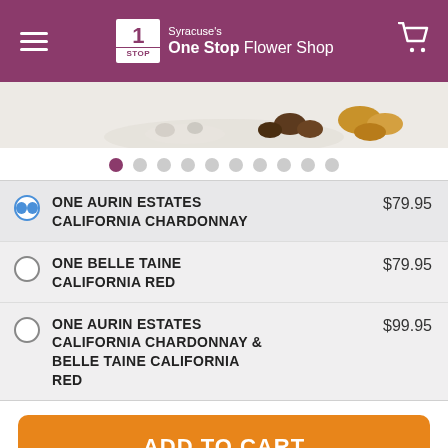Syracuse's One Stop Flower Shop
[Figure (photo): Product image — chocolates and cookies on white background]
ONE AURIN ESTATES CALIFORNIA CHARDONNAY — $79.95 (selected)
ONE BELLE TAINE CALIFORNIA RED — $79.95
ONE AURIN ESTATES CALIFORNIA CHARDONNAY & BELLE TAINE CALIFORNIA RED — $99.95
ADD TO CART
FASTER DELIVERY